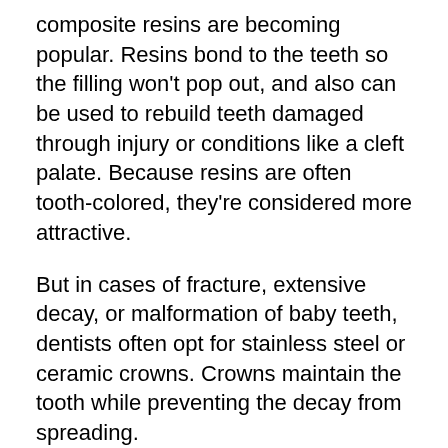composite resins are becoming popular. Resins bond to the teeth so the filling won't pop out, and also can be used to rebuild teeth damaged through injury or conditions like a cleft palate. Because resins are often tooth-colored, they're considered more attractive.
But in cases of fracture, extensive decay, or malformation of baby teeth, dentists often opt for stainless steel or ceramic crowns. Crowns maintain the tooth while preventing the decay from spreading.
In some rare instances, usually when a more complicated dental procedure is to be done, a dentist will recommend using general anesthesia. Parents should make sure that the professional who gives the medicine is a trained anesthesiologist or oral surgeon before agreeing to the procedure. Don't be afraid ask your dentist questions.